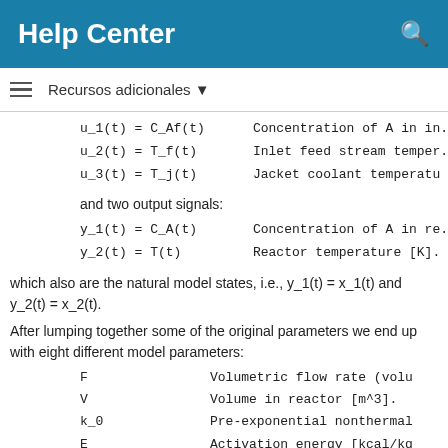Help Center
Recursos adicionales
| u_1(t) = C_Af(t) | Concentration of A in in. |
| u_2(t) = T_f(t) | Inlet feed stream temper. |
| u_3(t) = T_j(t) | Jacket coolant temperatu |
and two output signals:
| y_1(t) = C_A(t) | Concentration of A in re. |
| y_2(t) = T(t) | Reactor temperature [K]. |
which also are the natural model states, i.e., y_1(t) = x_1(t) and y_2(t) = x_2(t).
After lumping together some of the original parameters we end up with eight different model parameters:
| F | Volumetric flow rate (volu |
| V | Volume in reactor [m^3]. |
| k_0 | Pre-exponential nonthermal |
| E | Activation energy [kcal/kg |
| R | Boltzmann's gas constant [ |